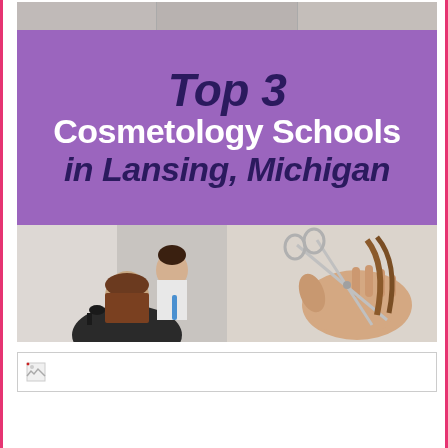[Figure (infographic): Top 3 Cosmetology Schools in Lansing, Michigan. Purple banner with title text overlaid on collage of cosmetology photos: hairstylist blow-drying client's hair, hand holding scissors cutting hair.]
[Figure (photo): Broken/unloaded image placeholder icon in a bordered rectangle.]